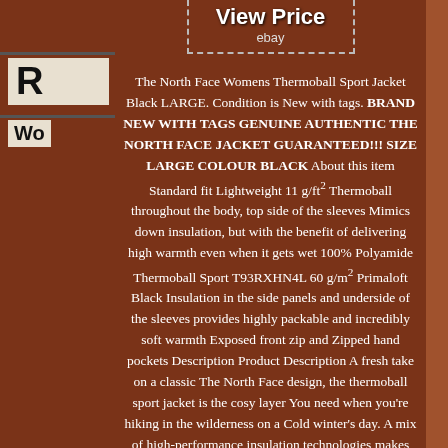[Figure (other): View Price eBay button with dashed border at top of page]
The North Face Womens Thermoball Sport Jacket Black LARGE. Condition is New with tags. BRAND NEW WITH TAGS GENUINE AUTHENTIC THE NORTH FACE JACKET GUARANTEED!!! SIZE LARGE COLOUR BLACK About this item Standard fit Lightweight 11 g/ft² Thermoball throughout the body, top side of the sleeves Mimics down insulation, but with the benefit of delivering high warmth even when it gets wet 100% Polyamide Thermoball Sport T93RXHN4L 60 g/m² Primaloft Black Insulation in the side panels and underside of the sleeves provides highly packable and incredibly soft warmth Exposed front zip and Zipped hand pockets Description Product Description A fresh take on a classic The North Face design, the thermoball sport jacket is the cosy layer You need when you're hiking in the wilderness on a Cold winter's day. A mix of high-performance insulation technologies makes this a lightweight and versatile piece that stands up to chilly conditions without Weighing You Down New for 2018, the classic ThermoBall Jacket has been reinvented with a fresh new look for sport enthusiasts. The Nylon outer now features a durable water-repellent finish to shed light rain and snow and this jacket utilise th